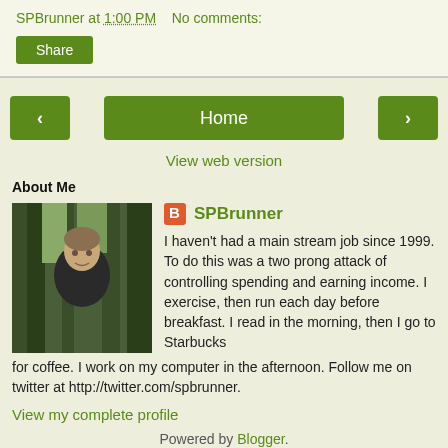SPBrunner at 1:00 PM   No comments:
Share
‹   Home   ›
View web version
About Me
[Figure (photo): Profile photo of SPBrunner - person outdoors among trees]
SPBrunner - I haven't had a main stream job since 1999. To do this was a two prong attack of controlling spending and earning income. I exercise, then run each day before breakfast. I read in the morning, then I go to Starbucks for coffee. I work on my computer in the afternoon. Follow me on twitter at http://twitter.com/spbrunner.
View my complete profile
Powered by Blogger.